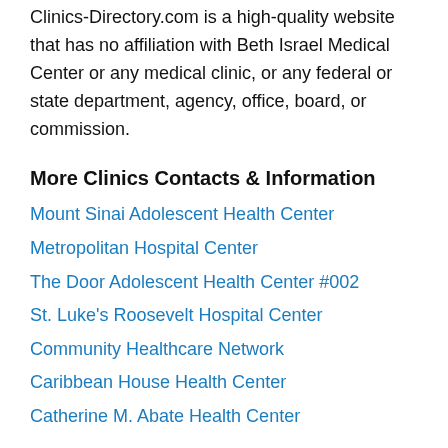Clinics-Directory.com is a high-quality website that has no affiliation with Beth Israel Medical Center or any medical clinic, or any federal or state department, agency, office, board, or commission.
More Clinics Contacts & Information
Mount Sinai Adolescent Health Center
Metropolitan Hospital Center
The Door Adolescent Health Center #002
St. Luke's Roosevelt Hospital Center
Community Healthcare Network
Caribbean House Health Center
Catherine M. Abate Health Center